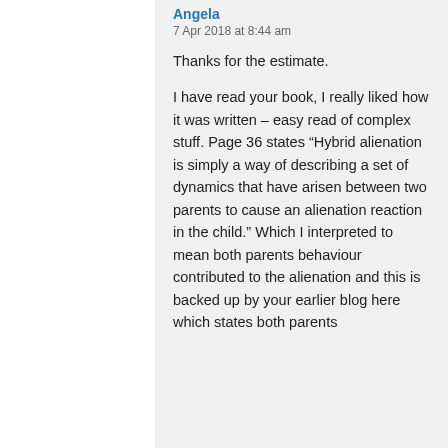Angela
7 Apr 2018 at 8:44 am
Thanks for the estimate.

I have read your book, I really liked how it was written – easy read of complex stuff. Page 36 states “Hybrid alienation is simply a way of describing a set of dynamics that have arisen between two parents to cause an alienation reaction in the child.” Which I interpreted to mean both parents behaviour contributed to the alienation and this is backed up by your earlier blog here which states both parents